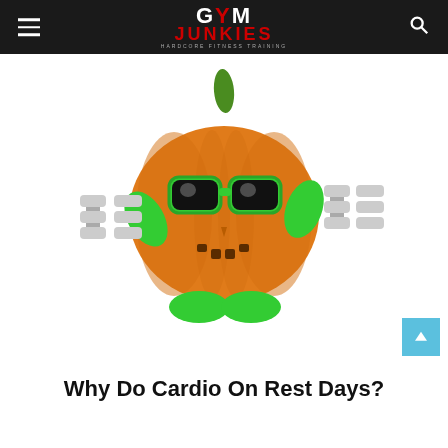GYM JUNKIES — HARDCORE FITNESS TRAINING
[Figure (illustration): A cartoon 3D jack-o-lantern pumpkin character wearing green sunglasses and holding silver dumbbells in each green hand, with green feet, on a white background]
Why Do Cardio On Rest Days?